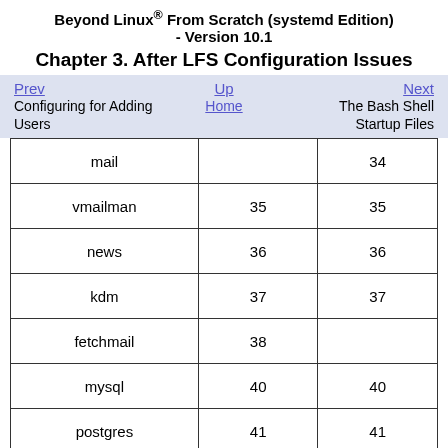Beyond Linux® From Scratch (systemd Edition) - Version 10.1
Chapter 3. After LFS Configuration Issues
Prev | Up | Next | Configuring for Adding Users | Home | The Bash Shell Startup Files
|  |  |  |
| --- | --- | --- |
| mail |  | 34 |
| vmailman | 35 | 35 |
| news | 36 | 36 |
| kdm | 37 | 37 |
| fetchmail | 38 |  |
| mysql | 40 | 40 |
| postgres | 41 | 41 |
| dovecot | 42 | 42 |
| dovenull | 43 | 43 |
| ftp | 45 | 45 |
| ftpl | 46 | 46 |